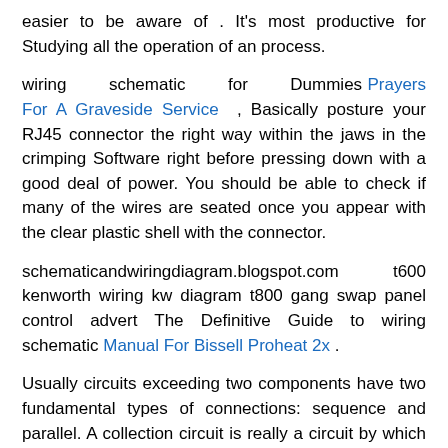easier to be aware of . It's most productive for Studying all the operation of an process.
wiring schematic for Dummies Prayers For A Graveside Service , Basically posture your RJ45 connector the right way within the jaws in the crimping Software right before pressing down with a good deal of power. You should be able to check if many of the wires are seated once you appear with the clear plastic shell with the connector.
schematicandwiringdiagram.blogspot.com t600 kenworth wiring kw diagram t800 gang swap panel control advert The Definitive Guide to wiring schematic Manual For Bissell Proheat 2x .
Usually circuits exceeding two components have two fundamental types of connections: sequence and parallel. A collection circuit is really a circuit by which components are connected together one particular